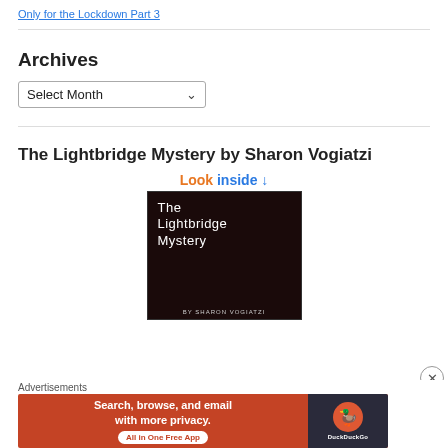Only for the Lockdown Part 3
Archives
Select Month
The Lightbridge Mystery by Sharon Vogiatzi
[Figure (illustration): Book cover image for 'The Lightbridge Mystery' showing white text on dark brown/black background with 'Look inside' call-to-action above it]
Advertisements
[Figure (infographic): DuckDuckGo advertisement banner: 'Search, browse, and email with more privacy. All in One Free App' with DuckDuckGo logo on dark background]